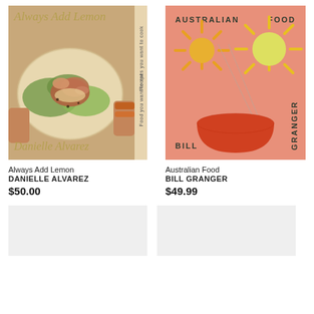[Figure (illustration): Book cover for 'Always Add Lemon' by Danielle Alvarez. Shows a food photograph of a salad dish on a warm beige background. Title in olive/gold italic text at top, author name at bottom in same style. Spine text reads 'Recipes you want to cook' and 'Food you want to eat'.]
Always Add Lemon
DANIELLE ALVAREZ
$50.00
[Figure (illustration): Book cover for 'Australian Food' by Bill Granger. Salmon/coral pink background with illustrated suns (one orange and one yellow-green) and a red-orange bowl. Text labels: AUSTRALIAN top left, FOOD top right, BILL bottom left, GRANGER bottom right (vertical).]
Australian Food
BILL GRANGER
$49.99